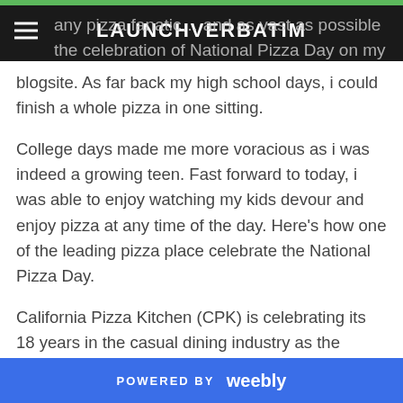LAUNCHVERBATIM
any pizza fanatic … and as vast as possible the celebration of National Pizza Day on my blogsite. As far back my high school days, i could finish a whole pizza in one sitting.
College days made me more voracious as i was indeed a growing teen. Fast forward to today, i was able to enjoy watching my kids devour and enjoy pizza at any time of the day. Here's how one of the leading pizza place celebrate the National Pizza Day.
California Pizza Kitchen (CPK) is celebrating its 18 years in the casual dining industry as the pioneer in offering gourmet pizzas in the country. In line with this, it is again mounting its successful annual campaign which is the National Pizza Day to be held on August 14 and 15 in all
POWERED BY weebly